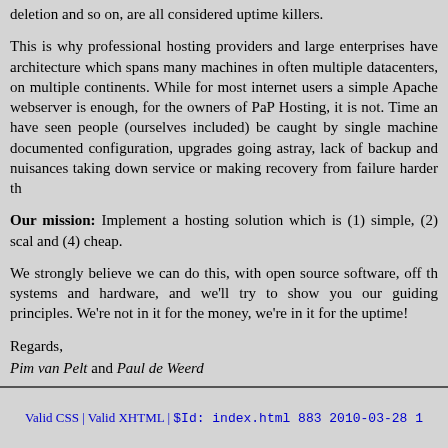deletion and so on, are all considered uptime killers.
This is why professional hosting providers and large enterprises have architecture which spans many machines in often multiple datacenters, on multiple continents. While for most internet users a simple Apache webserver is enough, for the owners of PaP Hosting, it is not. Time and we have seen people (ourselves included) be caught by single machine documented configuration, upgrades going astray, lack of backup and nuisances taking down service or making recovery from failure harder th
Our mission: Implement a hosting solution which is (1) simple, (2) scalable and (4) cheap.
We strongly believe we can do this, with open source software, off the systems and hardware, and we'll try to show you our guiding principles. We're not in it for the money, we're in it for the uptime!
Regards,
Pim van Pelt and Paul de Weerd
Valid CSS | Valid XHTML | $Id: index.html 883 2010-03-28 1